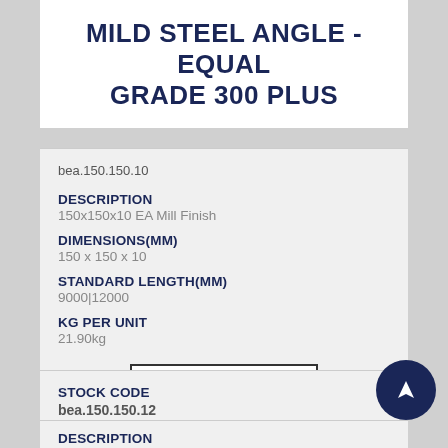MILD STEEL ANGLE - EQUAL GRADE 300 PLUS
bea.150.150.10
DESCRIPTION
150x150x10 EA Mill Finish
DIMENSIONS(MM)
150 x 150 x 10
STANDARD LENGTH(MM)
9000|12000
KG PER UNIT
21.90kg
VIEW PRICE >
STOCK CODE
bea.150.150.12
DESCRIPTION
150x150x12 EA Mill Finish